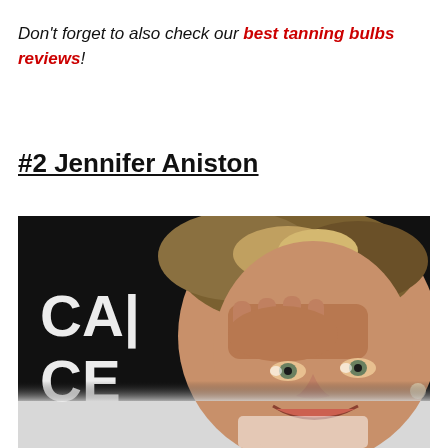Don't forget to also check our best tanning bulbs reviews!
#2 Jennifer Aniston
[Figure (photo): Close-up photo of Jennifer Aniston smiling, with short blonde hair, hand raised to forehead, against a dark background with partial white text 'CAI' and 'CE' visible on the left side. Lower portion shows a lighter faded section.]